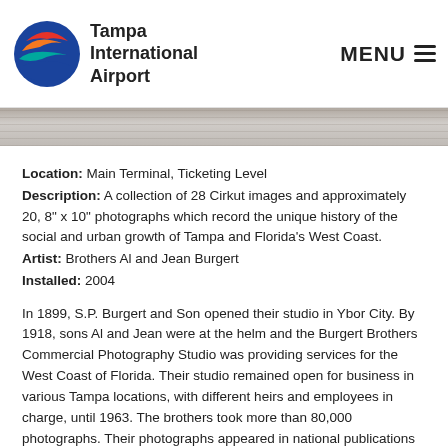Tampa International Airport | MENU
[Figure (photo): Partial view of a wooden/gray paneled surface — image strip below the header navigation]
Location: Main Terminal, Ticketing Level
Description: A collection of 28 Cirkut images and approximately 20, 8" x 10" photographs which record the unique history of the social and urban growth of Tampa and Florida's West Coast.
Artist: Brothers Al and Jean Burgert
Installed: 2004
In 1899, S.P. Burgert and Son opened their studio in Ybor City. By 1918, sons Al and Jean were at the helm and the Burgert Brothers Commercial Photography Studio was providing services for the West Coast of Florida. Their studio remained open for business in various Tampa locations, with different heirs and employees in charge, until 1963. The brothers took more than 80,000 photographs. Their photographs appeared in national publications including Life and National Geographic